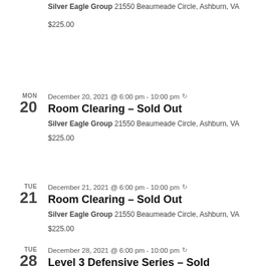Silver Eagle Group 21550 Beaumeade Circle, Ashburn, VA
$225.00
December 20, 2021 @ 6:00 pm - 10:00 pm
Room Clearing – Sold Out
Silver Eagle Group 21550 Beaumeade Circle, Ashburn, VA
$225.00
December 21, 2021 @ 6:00 pm - 10:00 pm
Room Clearing – Sold Out
Silver Eagle Group 21550 Beaumeade Circle, Ashburn, VA
$225.00
December 28, 2021 @ 6:00 pm - 10:00 pm
Level 3 Defensive Series – Sold